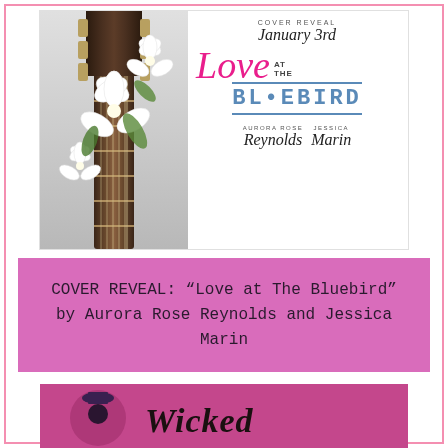[Figure (illustration): Book cover for 'Love at The Bluebird' showing a guitar headstock with white flowers on the left, and the title text with authors Aurora Rose Reynolds and Jessica Marin on the right. Header says COVER REVEAL January 3rd.]
COVER REVEAL: “Love at The Bluebird” by Aurora Rose Reynolds and Jessica Marin
[Figure (logo): Bottom portion of a Wicked logo on a pink/magenta background with a circular icon on the left]